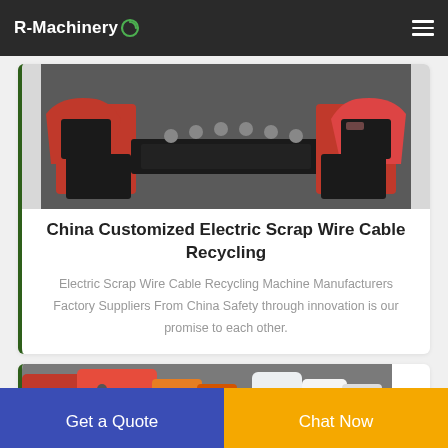R-Machinery
[Figure (photo): Photo of a red electric scrap wire cable recycling machine with black trays/conveyors on a workshop floor]
China Customized Electric Scrap Wire Cable Recycling
Electric Scrap Wire Cable Recycling Machine Manufacturers Factory Suppliers From China Safety through innovation is our promise to each other.
[Figure (photo): Partial photo of red and orange industrial recycling machinery equipment]
Get a Quote
Chat Now